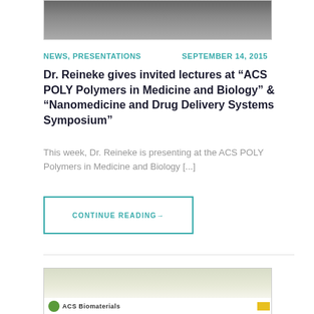[Figure (photo): Partial photo of a person at top of page, cropped]
NEWS, PRESENTATIONS    SEPTEMBER 14, 2015
Dr. Reineke gives invited lectures at “ACS POLY Polymers in Medicine and Biology” & “Nanomedicine and Drug Delivery Systems Symposium”
This week, Dr. Reineke is presenting at the ACS POLY Polymers in Medicine and Biology [...]
CONTINUE READING→
[Figure (photo): ACS Biomaterials logo and green/yellow branding image at bottom of page]